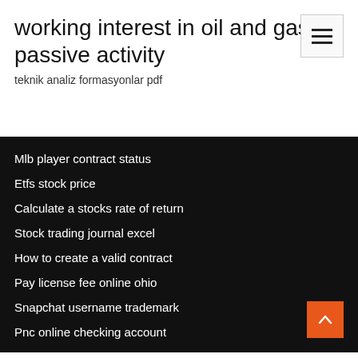working interest in oil and gas passive activity
teknik analiz formasyonlar pdf
Mlb player contract status
Etfs stock price
Calculate a stocks rate of return
Stock trading journal excel
How to create a valid contract
Pay license fee online ohio
Snapchat username trademark
Pnc online checking account